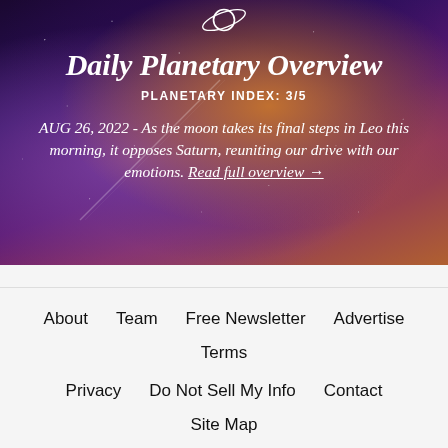[Figure (illustration): Hero banner with space/galaxy background showing Daily Planetary Overview with Saturn icon, title, planetary index, and date text]
Daily Planetary Overview
PLANETARY INDEX: 3/5
AUG 26, 2022 - As the moon takes its final steps in Leo this morning, it opposes Saturn, reuniting our drive with our emotions. Read full overview →
About  Team  Free Newsletter  Advertise  Terms  Privacy  Do Not Sell My Info  Contact  Site Map  Horoscope du jour  ♿ 🔊 Tell Me My Horoscope  © Copyright 2022 - Horoscope.com, Inc. - All rights reserved